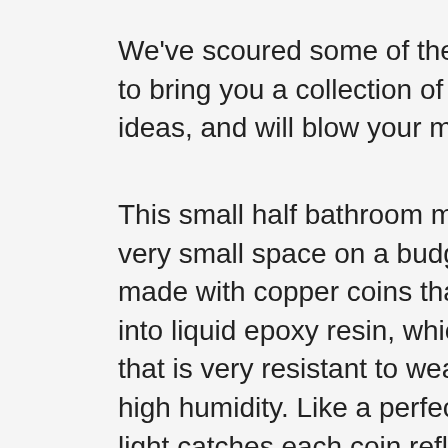We've scoured some of the best pictures of toilets to bring you a collection of small half bathroom ideas, and will blow your mind.
This small half bathroom makes the most of a very small space on a budget that fits. The floor is made with copper coins that are neatly arranged into liquid epoxy resin, which is a coating surface that is very resistant to weather, water and even high humidity. Like a perfect transparent seal. The light catches each coin reflecting the unique copper color luster and finish of the coin when enshrined in resin. The toilet is standard size, although it doesn't leave much room for your